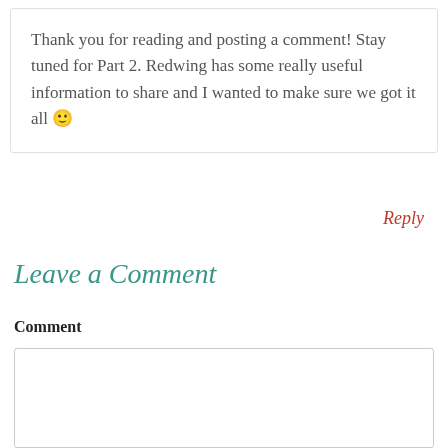Thank you for reading and posting a comment! Stay tuned for Part 2. Redwing has some really useful information to share and I wanted to make sure we got it all 🙂
Reply
Leave a Comment
Comment
[Figure (other): Empty comment text area input box]